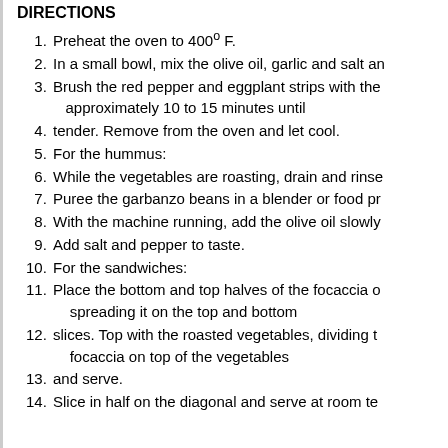DIRECTIONS
Preheat the oven to 400º F.
In a small bowl, mix the olive oil, garlic and salt an
Brush the red pepper and eggplant strips with the approximately 10 to 15 minutes until
tender. Remove from the oven and let cool.
For the hummus:
While the vegetables are roasting, drain and rinse
Puree the garbanzo beans in a blender or food pr
With the machine running, add the olive oil slowly
Add salt and pepper to taste.
For the sandwiches:
Place the bottom and top halves of the focaccia o spreading it on the top and bottom
slices. Top with the roasted vegetables, dividing t focaccia on top of the vegetables
and serve.
Slice in half on the diagonal and serve at room te